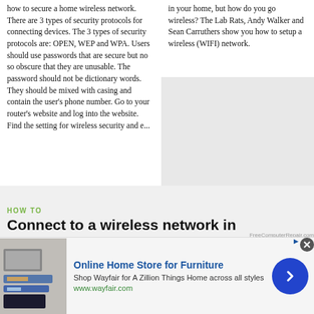how to secure a home wireless network. There are 3 types of security protocols for connecting devices. The 3 types of security protocols are: OPEN, WEP and WPA. Users should use passwords that are secure but no so obscure that they are unusable. The password should not be dictionary words. They should be mixed with casing and contain the user's phone number. Go to your router's website and log into the website. Find the setting for wireless security and e...
in your home, but how do you go wireless? The Lab Rats, Andy Walker and Sean Carruthers show you how to setup a wireless (WIFI) network.
HOW TO
Connect to a wireless network in Windows 7
[Figure (screenshot): Advertisement banner for Wayfair Online Home Store for Furniture showing furniture image, text 'Shop Wayfair for A Zillion Things Home across all styles', www.wayfair.com, with a blue circular arrow button and a close button.]